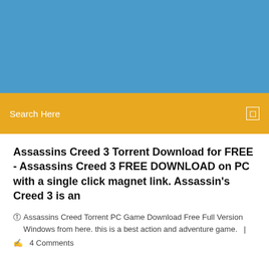[Figure (other): Blue header background banner]
Search Here
Assassins Creed 3 Torrent Download for FREE - Assassins Creed 3 FREE DOWNLOAD on PC with a single click magnet link. Assassin's Creed 3 is an
Assassins Creed Torrent PC Game Download Free Full Version Windows from here. this is a best action and adventure game.  |  4 Comments